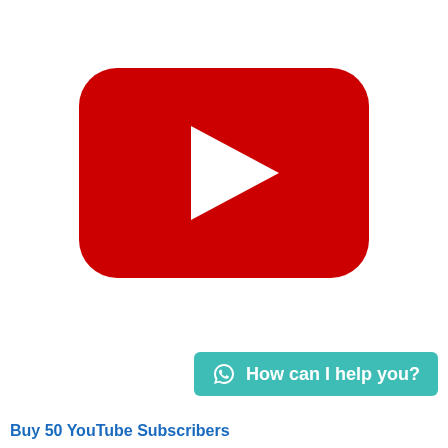[Figure (logo): YouTube logo — red rounded rectangle with white play button triangle in the center]
How can I help you?
Buy 50 YouTube Subscribers